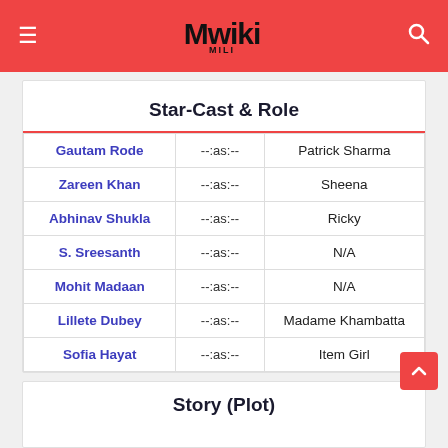Mwiki
Star-Cast & Role
|  | --:as:-- |  |
| --- | --- | --- |
| Gautam Rode | --:as:-- | Patrick Sharma |
| Zareen Khan | --:as:-- | Sheena |
| Abhinav Shukla | --:as:-- | Ricky |
| S. Sreesanth | --:as:-- | N/A |
| Mohit Madaan | --:as:-- | N/A |
| Lillete Dubey | --:as:-- | Madame Khambatta |
| Sofia Hayat | --:as:-- | Item Girl |
Story (Plot)